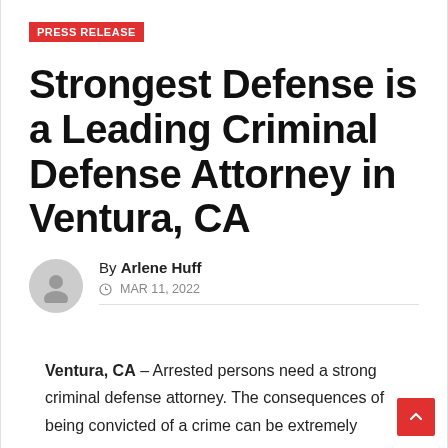PRESS RELEASE
Strongest Defense is a Leading Criminal Defense Attorney in Ventura, CA
By Arlene Huff
MAR 11, 2022
Ventura, CA – Arrested persons need a strong criminal defense attorney. The consequences of being convicted of a crime can be extremely